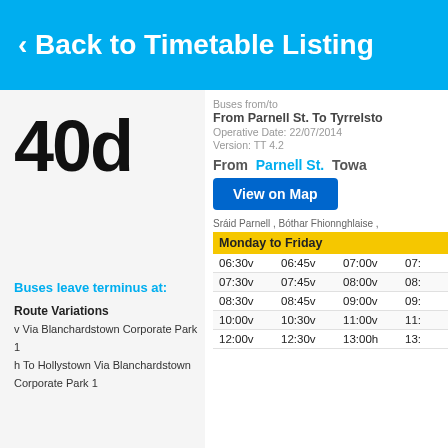‹ Back to Timetable Listing
40d
Buses from/to
From Parnell St. To Tyrrelsto
Operative Date: 22/07/2014
Version: TT 4.2
From  Parnell St.  Towa
View on Map
Sráid Parnell , Bóthar Fhionnghlaise ,
Monday to Friday
Buses leave terminus at:
Route Variations
v Via Blanchardstown Corporate Park 1
h To Hollystown Via Blanchardstown Corporate Park 1
| Col1 | Col2 | Col3 | Col4 |
| --- | --- | --- | --- |
| 06:30v | 06:45v | 07:00v | 07: |
| 07:30v | 07:45v | 08:00v | 08: |
| 08:30v | 08:45v | 09:00v | 09: |
| 10:00v | 10:30v | 11:00v | 11: |
| 12:00v | 12:30v | 13:00h | 13: |